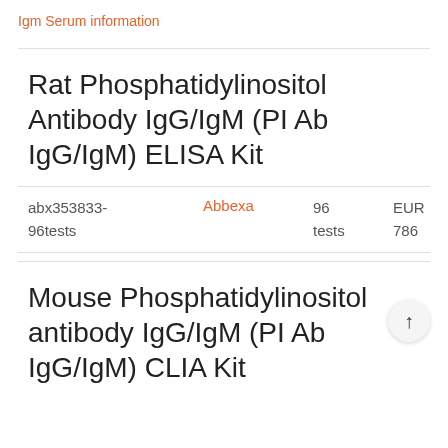Igm Serum information
Rat Phosphatidylinositol Antibody IgG/IgM (PI Ab IgG/IgM) ELISA Kit
| ID | Supplier | Qty | Price |
| --- | --- | --- | --- |
| abx353833-96tests | Abbexa | 96 tests | EUR 786 |
Mouse Phosphatidylinositol antibody IgG/IgM (PI Ab IgG/IgM) CLIA Kit